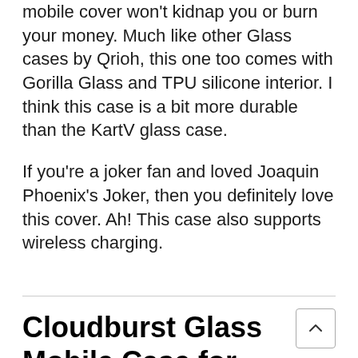mobile cover won't kidnap you or burn your money. Much like other Glass cases by Qrioh, this one too comes with Gorilla Glass and TPU silicone interior. I think this case is a bit more durable than the KartV glass case.

If you're a joker fan and loved Joaquin Phoenix's Joker, then you definitely love this cover. Ah! This case also supports wireless charging.
Cloudburst Glass Mobile Case for iPhone X